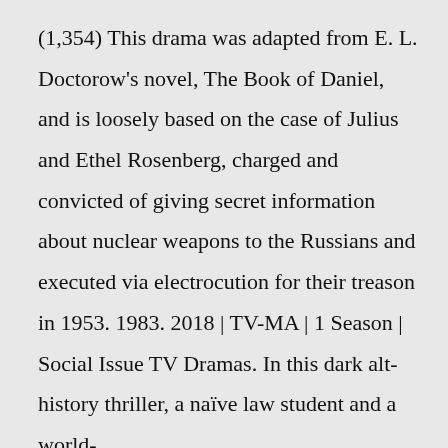(1,354) This drama was adapted from E. L. Doctorow's novel, The Book of Daniel, and is loosely based on the case of Julius and Ethel Rosenberg, charged and convicted of giving secret information about nuclear weapons to the Russians and executed via electrocution for their treason in 1953. 1983. 2018 | TV-MA | 1 Season | Social Issue TV Dramas. In this dark alt-history thriller, a naïve law student and a world-